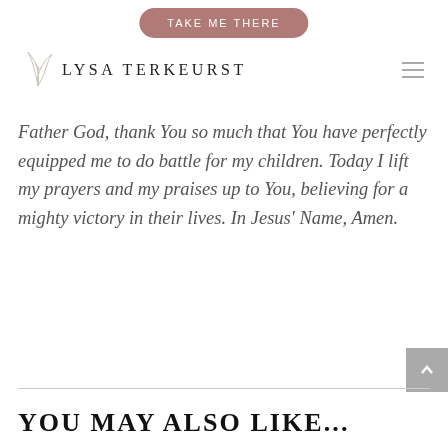[Figure (screenshot): Pink/mauve rounded button with text TAKE ME THERE]
LYSA TERKEURST
Father God, thank You so much that You have perfectly equipped me to do battle for my children. Today I lift my prayers and my praises up to You, believing for a mighty victory in their lives. In Jesus' Name, Amen.
YOU MAY ALSO LIKE...